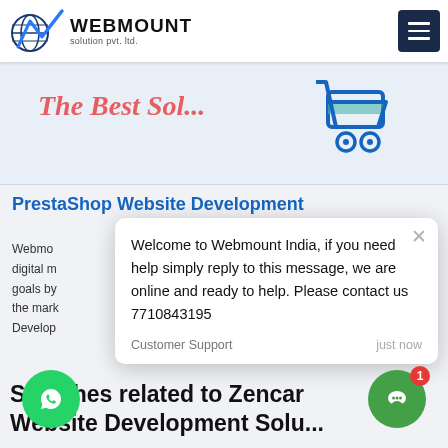[Figure (logo): Webmount Solution Pvt. Ltd. logo with globe and mountain/checkmark icon]
[Figure (screenshot): Partially visible banner image showing 'The Best...' text in red italic and a blue shopping cart icon on white background]
PrestaShop Website Development
Welcome to Webmount India, if you need help simply reply to this message, we are online and ready to help. Please contact us 7710843195
Customer Support   just now
Webmount ... digital m... goals by... the mark... Develop...
Searches related to Zencar
Website Development Solu...